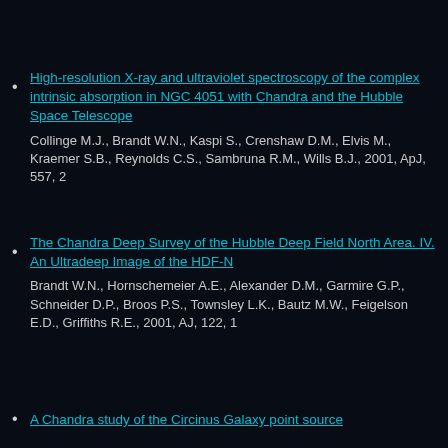High-resolution X-ray and ultraviolet spectroscopy of the complex intrinsic absorption in NGC 4051 with Chandra and the Hubble Space Telescope
Collinge M.J., Brandt W.N., Kaspi S., Crenshaw D.M., Elvis M., Kraemer S.B., Reynolds C.S., Sambruna R.M., Wills B.J., 2001, ApJ, 557, 2
The Chandra Deep Survey of the Hubble Deep Field North Area. IV. An Ultradeep Image of the HDF-N
Brandt W.N., Hornschemeier A.E., Alexander D.M., Garmire G.P., Schneider D.P., Broos P.S., Townsley L.K., Bautz M.W., Feigelson E.D., Griffiths R.E., 2001, AJ, 122, 1
A Chandra study of the Circinus Galaxy point source